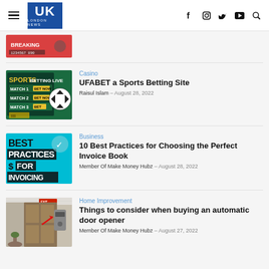UK London News
[Figure (screenshot): Partial article thumbnail at top — red background with text/numbers]
[Figure (photo): Sports betting live screen with soccer ball and match listings — MATCH 1 BET NOW, MATCH 2 BET NOW, MATCH 3 BET]
Casino
UFABET a Sports Betting Site
Raisul Islam – August 28, 2022
[Figure (photo): Teal/cyan background with black bold text: BEST PRACTICES FOR INVOICING, with dollar sign]
Business
10 Best Practices for Choosing the Perfect Invoice Book
Member Of Make Money Hubz – August 28, 2022
[Figure (photo): Photo of an automatic door opener — brown/tan door with a red arrow pointing to the opener mechanism]
Home Improvement
Things to consider when buying an automatic door opener
Member Of Make Money Hubz – August 27, 2022